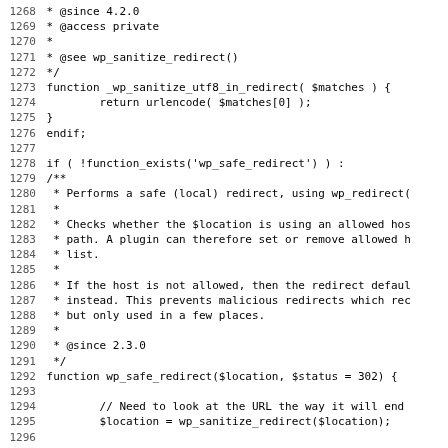Code listing lines 1268-1299 showing PHP source code for WordPress redirect functions _wp_sanitize_utf8_in_redirect and wp_safe_redirect